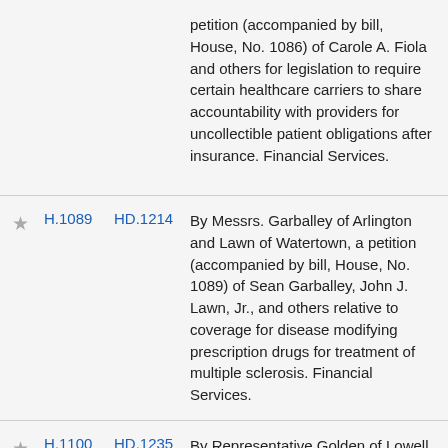petition (accompanied by bill, House, No. 1086) of Carole A. Fiola and others for legislation to require certain healthcare carriers to share accountability with providers for uncollectible patient obligations after insurance. Financial Services.
H.1089 HD.1214 By Messrs. Garballey of Arlington and Lawn of Watertown, a petition (accompanied by bill, House, No. 1089) of Sean Garballey, John J. Lawn, Jr., and others relative to coverage for disease modifying prescription drugs for treatment of multiple sclerosis. Financial Services.
H.1100 HD.1235 By Representative Golden of Lowell and Senator Rush, a joint petition (accompanied by bill,